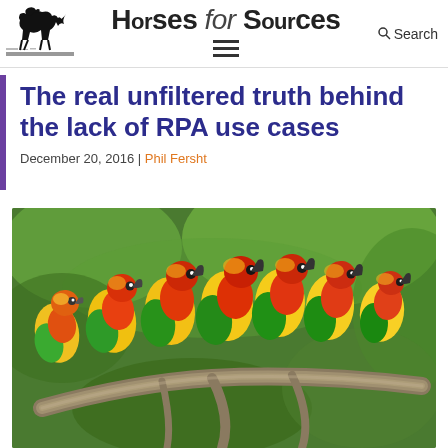Horses for Sources
The real unfiltered truth behind the lack of RPA use cases
December 20, 2016 | Phil Fersht
[Figure (photo): Group of yellow and orange sun conure parrots sitting together on a branch with green foliage background]